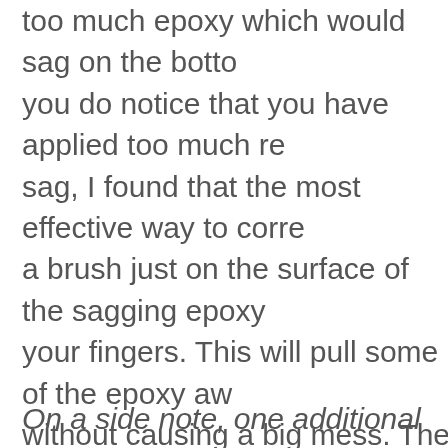too much epoxy which would sag on the bottom you do notice that you have applied too much res sag, I found that the most effective way to correc a brush just on the surface of the sagging epoxy your fingers. This will pull some of the epoxy awa without causing a big mess. The epoxy is self-lev need to brush the epoxy onto the wrap. You'll like wraps and epoxying by the time you've finished y at that point you will just need to repeat these pr wrapped up every section. As I have done in the wrap and epoxy my winding check last, kind of a this can be done at any time after the butt sectio and had time to cure.
On a side note, one additional accessory that I d